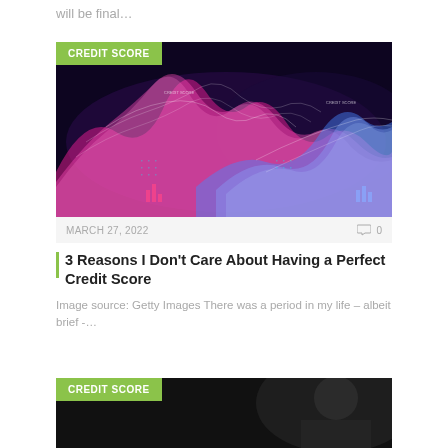will be final…
[Figure (photo): Abstract digital data visualization with colorful pink and blue glowing wave shapes on dark background, labeled CREDIT SCORE]
MARCH 27, 2022   0
3 Reasons I Don't Care About Having a Perfect Credit Score
Image source: Getty Images There was a period in my life – albeit brief -…
[Figure (photo): Second article image with CREDIT SCORE badge, partially visible, dark background]